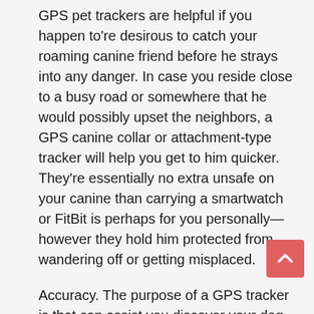GPS pet trackers are helpful if you happen to're desirous to catch your roaming canine friend before he strays into any danger. In case you reside close to a busy road or somewhere that he would possibly upset the neighbors, a GPS canine collar or attachment-type tracker will help you get to him quicker. They're essentially no extra unsafe on your canine than carrying a smartwatch or FitBit is perhaps for you personally—however they hold him protected from wandering off or getting misplaced.
Accuracy. The purpose of a GPS tracker is that can assist you discover your dog. If the tracker is inaccurate, nevertheless, it may be near inconceivable actually to locate your pooch. Think dog gps about looking for your dog in a location the size of a soccer area. Does not sound like fun, does it? The extra correct a tracker is, the higher.
Reasonably priced Subscription. Unfortunately, there isn't a commonplace subscription fee for GPS dog collars. Track your pet's location in actual time, plus monitor well being, fitness and extra for total peace of mind. Reply: You